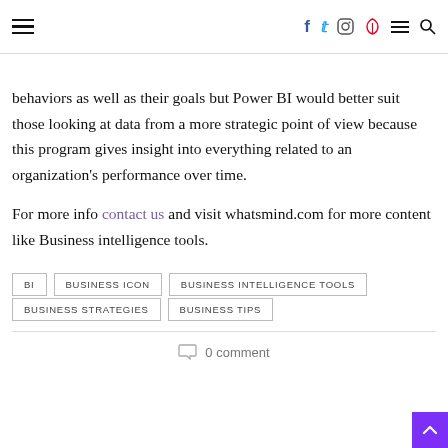[hamburger menu] [f] [t] [instagram] [p] [menu] [search]
behaviors as well as their goals but Power BI would better suit those looking at data from a more strategic point of view because this program gives insight into everything related to an organization's performance over time.
For more info contact us and visit whatsmind.com for more content like Business intelligence tools.
BI
BUSINESS ICON
BUSINESS INTELLIGENCE TOOLS
BUSINESS STRATEGIES
BUSINESS TIPS
0 comment